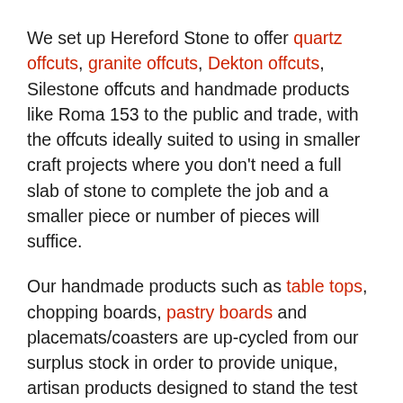We set up Hereford Stone to offer quartz offcuts, granite offcuts, Dekton offcuts, Silestone offcuts and handmade products like Roma 153 to the public and trade, with the offcuts ideally suited to using in smaller craft projects where you don't need a full slab of stone to complete the job and a smaller piece or number of pieces will suffice.
Our handmade products such as table tops, chopping boards, pastry boards and placemats/coasters are up-cycled from our surplus stock in order to provide unique, artisan products designed to stand the test of time. Our selection of handmade products is designed and made in-house by our skilled stonemasons, for a quality finish.
By buying items such as Roma 153 from us, you're helping to protect the environment through reducing the waste that ends up in landfill, creating a new, sustainable upcycling channel that provides great value to the buyer.